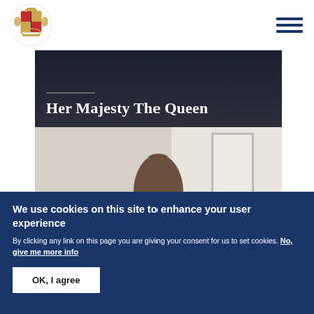[Figure (logo): Royal coat of arms logo for the UK Royal Family official website]
[Figure (photo): Hero image with dark banner showing 'Her Majesty The Queen' title over a photo of a person in front of a white door]
Her Majesty The Queen
We use cookies on this site to enhance your user experience
By clicking any link on this page you are giving your consent for us to set cookies. No, give me more info
OK, I agree